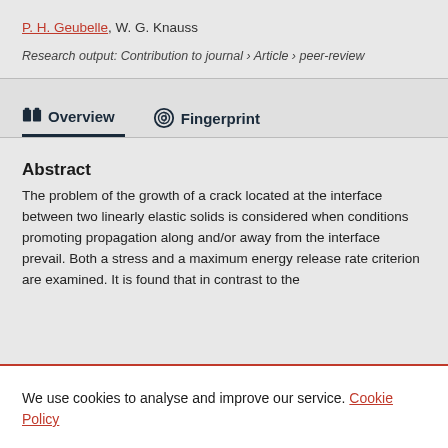P. H. Geubelle, W. G. Knauss
Research output: Contribution to journal › Article › peer-review
Overview   Fingerprint
Abstract
The problem of the growth of a crack located at the interface between two linearly elastic solids is considered when conditions promoting propagation along and/or away from the interface prevail. Both a stress and a maximum energy release rate criterion are examined. It is found that in contrast to the
We use cookies to analyse and improve our service. Cookie Policy